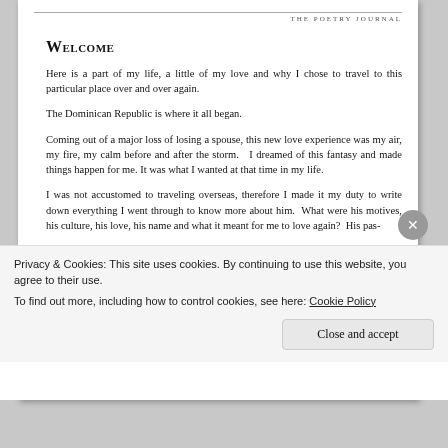The Poetry Journal
Welcome
Here is a part of my life, a little of my love and why I chose to travel to this particular place over and over again.
The Dominican Republic is where it all began.
Coming out of a major loss of losing a spouse, this new love experience was my air, my fire, my calm before and after the storm.   I dreamed of this fantasy and made things happen for me. It was what I wanted at that time in my life.
I was not accustomed to traveling overseas, therefore I made it my duty to write down everything I went through to know more about him.  What were his motives, his culture, his love, his name and what it meant for me to love again?  His pas-
Privacy & Cookies: This site uses cookies. By continuing to use this website, you agree to their use.
To find out more, including how to control cookies, see here: Cookie Policy
Close and accept